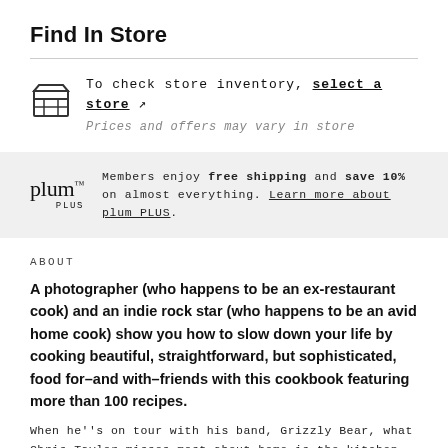Find In Store
To check store inventory, select a store ↗
Prices and offers may vary in store
plum PLUS — Members enjoy free shipping and save 10% on almost everything. Learn more about plum PLUS.
ABOUT
A photographer (who happens to be an ex-restaurant cook) and an indie rock star (who happens to be an avid home cook) show you how to slow down your life by cooking beautiful, straightforward, but sophisticated, food for–and with–friends with this cookbook featuring more than 100 recipes.
When he''s on tour with his band, Grizzly Bear, what Chris Taylor misses most about home is the kitchen and the